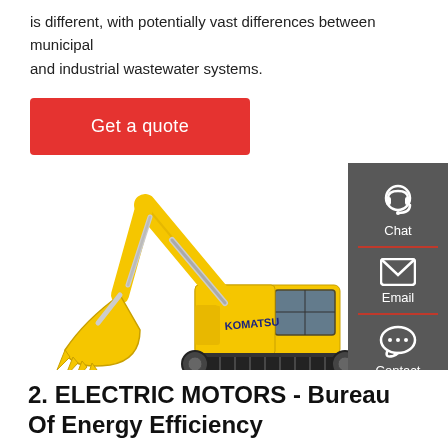is different, with potentially vast differences between municipal and industrial wastewater systems.
Get a quote
[Figure (photo): Yellow Komatsu excavator/crawler shovel on white background]
2. ELECTRIC MOTORS - Bureau Of Energy Efficiency